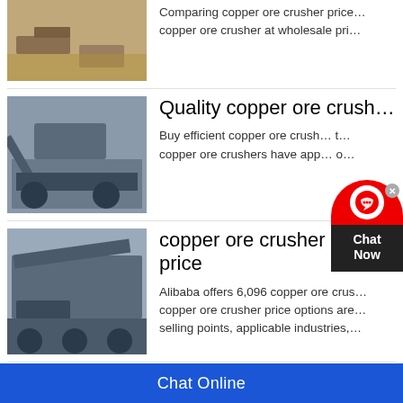[Figure (photo): Mining site aerial view with equipment]
Comparing copper ore crusher price…copper ore crusher at wholesale pri…
[Figure (photo): Large mobile crushing plant on tracks]
Quality copper ore crush…
Buy efficient copper ore crush… t… copper ore crushers have app… o…
[Figure (photo): Mobile jaw crusher mounted on truck trailer]
copper ore crusher e price
Alibaba offers 6,096 copper ore crus… copper ore crusher price options are… selling points, applicable industries,…
[Figure (photo): Stationary copper ore crusher equipment]
copper ore crusher, pric…
Chat Online